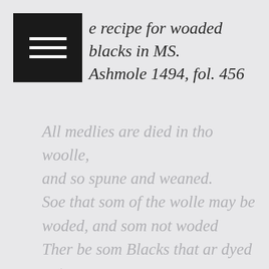e recipe for woaded blacks in MS. Ashmole 1494, fol. 456
All medlies are died in tho woolle, and so spune and weaned.
Soe that som of the wolle may be woded, and som not woded
Ther be som Blacks that ar dyed out of white, without Wodinge
and they ar called gauld Blacks, and those that be wooded be called woded blacks
The woded blacks after they ar